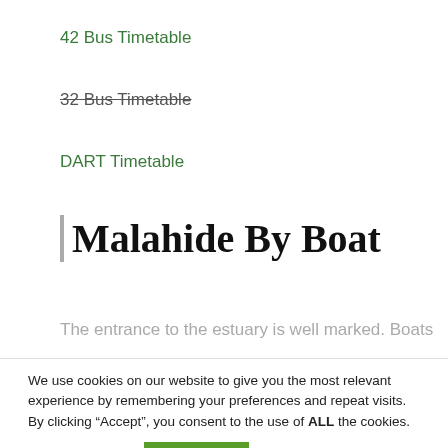42 Bus Timetable
32 Bus Timetable
DART Timetable
Malahide By Boat
The entrance to the estuary is well marked. Boats
We use cookies on our website to give you the most relevant experience by remembering your preferences and repeat visits. By clicking “Accept”, you consent to the use of ALL the cookies.
Cookie settings
ACCEPT